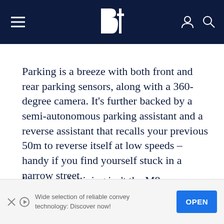Bt (logo) — navigation header with hamburger menu, logo, user icon, search icon
Parking is a breeze with both front and rear parking sensors, along with a 360-degree camera. It’s further backed by a semi-autonomous parking assistant and a reverse assistant that recalls your previous 50m to reverse itself at low speeds – handy if you find yourself stuck in a narrow street.
Low-speed driving isn’t the M8 Competition’s forte, though. A traffic-free autobahn is where it
[Figure (other): Advertisement banner: Wide selection of reliable convey technology: Discover now! with OPEN button]